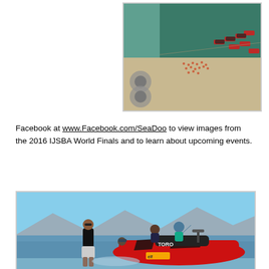[Figure (photo): Aerial view of jet ski event at waterfront showing jet skis lined up at shoreline and crowd of people]
Facebook at www.Facebook.com/SeaDoo to view images from the 2016 IJSBA World Finals and to learn about upcoming events.
[Figure (photo): Photo of people with a red and black branded jet ski (Sea-Doo/Toro) in shallow water near shore, mountains visible in background]